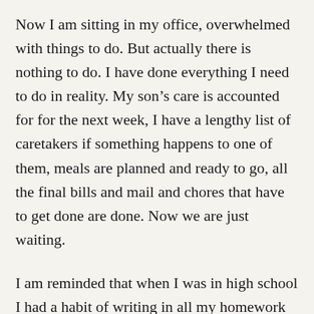Now I am sitting in my office, overwhelmed with things to do. But actually there is nothing to do. I have done everything I need to do in reality. My son’s care is accounted for for the next week, I have a lengthy list of caretakers if something happens to one of them, meals are planned and ready to go, all the final bills and mail and chores that have to get done are done. Now we are just waiting.
I am reminded that when I was in high school I had a habit of writing in all my homework very diligently in my planner. I was in an intensive international baccalaureate program and there was a lot of homework always. The closest TV